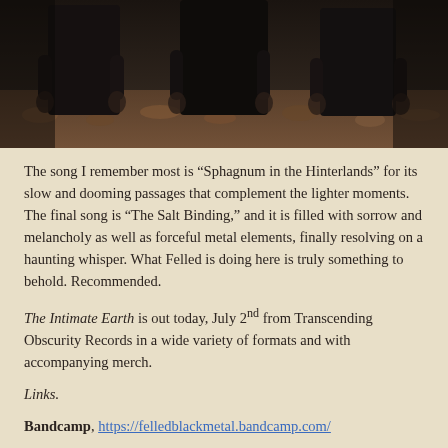[Figure (photo): Black and white photo of band members standing together, torsos and hands visible, dark clothing, outdoor setting with leaves/ground visible]
The song I remember most is “Sphagnum in the Hinterlands” for its slow and dooming passages that complement the lighter moments. The final song is “The Salt Binding,” and it is filled with sorrow and melancholy as well as forceful metal elements, finally resolving on a haunting whisper. What Felled is doing here is truly something to behold. Recommended.
The Intimate Earth is out today, July 2nd from Transcending Obscurity Records in a wide variety of formats and with accompanying merch.
Links.
Bandcamp, https://felledblackmetal.bandcamp.com/